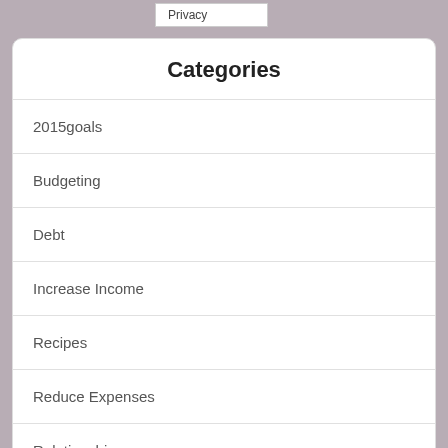Privacy
Categories
2015goals
Budgeting
Debt
Increase Income
Recipes
Reduce Expenses
Relationships
Saving